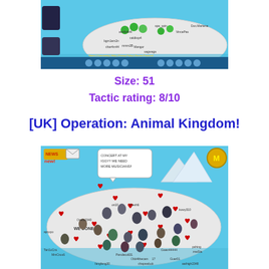[Figure (screenshot): Club Penguin game screenshot showing the map area with many penguin characters and usernames visible, with a toolbar at the bottom and navigation links.]
Size: 51
Tactic rating: 8/10
[UK] Operation: Animal Kingdom!
[Figure (screenshot): Club Penguin game screenshot showing many penguin characters on the map island with red heart emotes displayed above them, a speech bubble saying 'CONCERT AT MY IGGY!! WE NEED MORE MUSICIANS!!' and 'WE DONE IT' visible, with a NEWS/new mail icon in the top left and a gold M badge in the top right.]